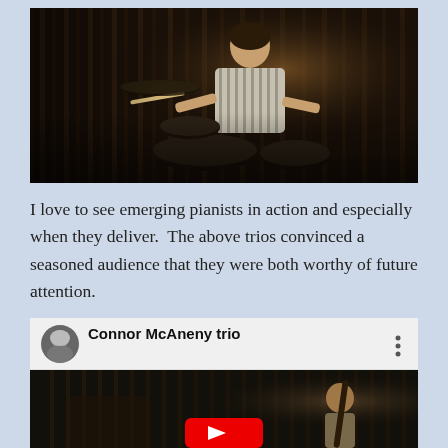[Figure (photo): A dark, moody photograph of a drummer playing drums in a dimly lit venue with vertical slat backdrop. The drummer is wearing a striped shirt and holding drumsticks.]
I love to see emerging pianists in action and especially when they deliver.  The above trios convinced a seasoned audience that they were both worthy of future attention.
[Figure (screenshot): A YouTube video thumbnail for 'Connor McAneny trio'. Shows a YouTube player interface with a white top bar containing a circular avatar of a man, the title 'Connor McAneny trio', and a three-dot menu icon. Below is a dark video frame showing a musician playing bass in a dimly lit venue with vertical slat backdrop. A red YouTube play button is partially visible at the bottom center.]